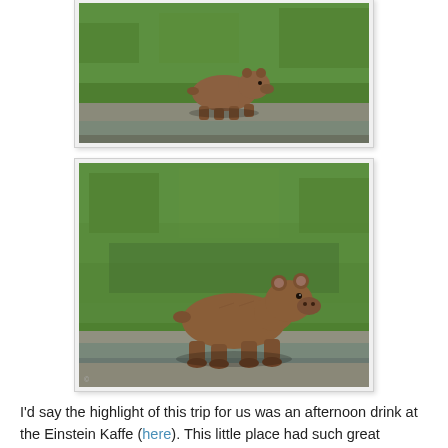[Figure (photo): Brown bear walking along a concrete ledge beside a narrow water channel, with green grass slope in background. Taken from above.]
[Figure (photo): Brown bear cub walking along a concrete ledge beside a narrow water channel, with lush green grass slope in background. Taken from above, bear is larger and more central in frame.]
I'd say the highlight of this trip for us was an afternoon drink at the Einstein Kaffe (here).  This little place had such great character and charm, and it's located in the very house where Einstein stayed when he was in Bern.  The reason why this was such a fun experience is that we shared a table